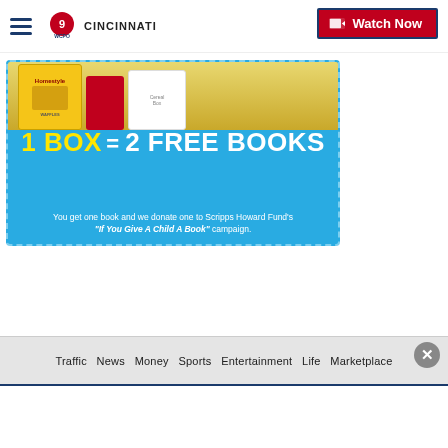WCPO 9 Cincinnati — Watch Now
[Figure (screenshot): Advertisement banner with blue background showing '1 BOX = 2 FREE BOOKS' promotion. Text: You get one book and we donate one to Scripps Howard Fund's "If You Give A Child A Book" campaign.]
Traffic   News   Money   Sports   Entertainment   Life   Marketplace